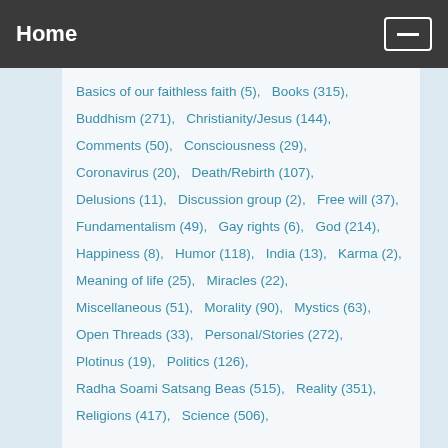Home
Basics of our faithless faith (5),   Books (315),
Buddhism (271),   Christianity/Jesus (144),
Comments (50),   Consciousness (29),
Coronavirus (20),   Death/Rebirth (107),
Delusions (11),   Discussion group (2),   Free will (37),
Fundamentalism (49),   Gay rights (6),   God (214),
Happiness (8),   Humor (118),   India (13),   Karma (2),
Meaning of life (25),   Miracles (22),
Miscellaneous (51),   Morality (90),   Mystics (63),
Open Threads (33),   Personal/Stories (272),
Plotinus (19),   Politics (126),
Radha Soami Satsang Beas (515),   Reality (351),
Religions (417),   Science (506),